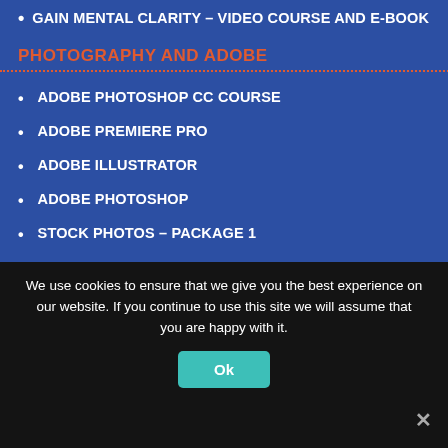GAIN MENTAL CLARITY – VIDEO COURSE AND E-BOOK
PHOTOGRAPHY AND ADOBE
ADOBE PHOTOSHOP CC COURSE
ADOBE PREMIERE PRO
ADOBE ILLUSTRATOR
ADOBE PHOTOSHOP
STOCK PHOTOS – PACKAGE 1
STOCK PACKAGE 2 ULTIMATE TRANSPARENT
PACKAGE 4 VIDEO STOCKS MATERIAL V2 16 GB
PACKAGE 3 10,000 ROYALTY-FREE HIGH-IMPACT STOCK PHOTOS AND 1300 HD CLIPS
STOCK IMAGE PACKAGE 5 – 30.000 HD IMAGES AND 2500 VIDEOS ROYALTY FREE
PHOTO WORKSHOP DIGITAL CAMERA
We use cookies to ensure that we give you the best experience on our website. If you continue to use this site we will assume that you are happy with it.